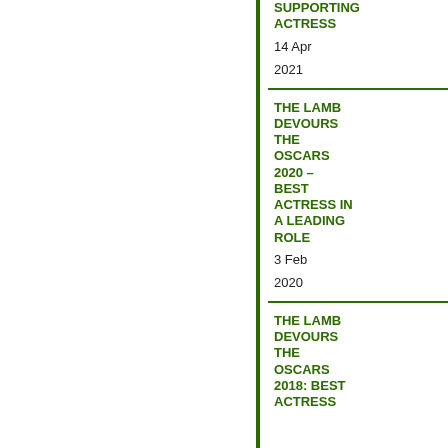SUPPORTING ACTRESS
14 Apr
2021
THE LAMB DEVOURS THE OSCARS 2020 – BEST ACTRESS IN A LEADING ROLE
3 Feb
2020
THE LAMB DEVOURS THE OSCARS 2018: BEST ACTRESS